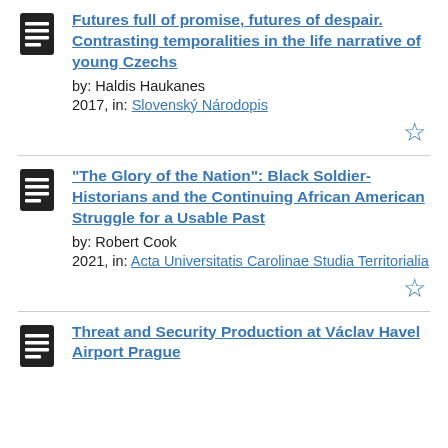Futures full of promise, futures of despair. Contrasting temporalities in the life narrative of young Czechs by: Haldis Haukanes 2017, in: Slovenský Národopis
"The Glory of the Nation": Black Soldier-Historians and the Continuing African American Struggle for a Usable Past by: Robert Cook 2021, in: Acta Universitatis Carolinae Studia Territorialia
Threat and Security Production at Václav Havel Airport Prague